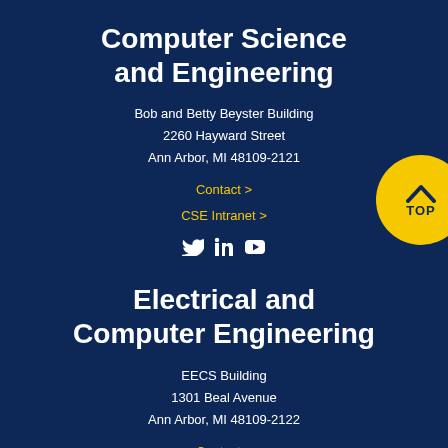Computer Science and Engineering
Bob and Betty Beyster Building
2260 Hayward Street
Ann Arbor, MI 48109-2121
Contact >
CSE Intranet >
[Figure (other): Social media icons: Twitter, LinkedIn, YouTube]
Electrical and Computer Engineering
EECS Building
1301 Beal Avenue
Ann Arbor, MI 48109-2122
Contact >
ECE Intranet >
[Figure (other): Social media icons: Twitter, LinkedIn, YouTube, Instagram, Facebook]
[Figure (other): Yellow circular TOP badge with chevron arrow]